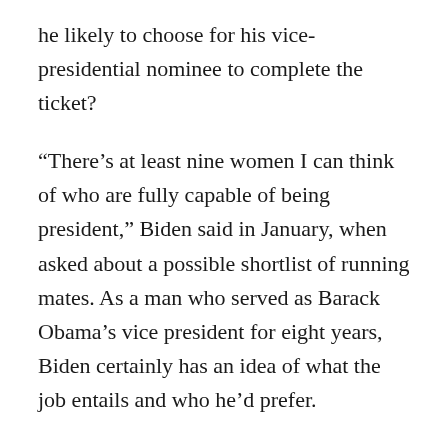he likely to choose for his vice-presidential nominee to complete the ticket?
“There’s at least nine women I can think of who are fully capable of being president,” Biden said in January, when asked about a possible shortlist of running mates. As a man who served as Barack Obama’s vice president for eight years, Biden certainly has an idea of what the job entails and who he’d prefer.
A vice president should be both a reflection of the top of the ticket, and a contrast, covering areas where the presidential nominee is the weakest. In Biden’s case, this is a woman,